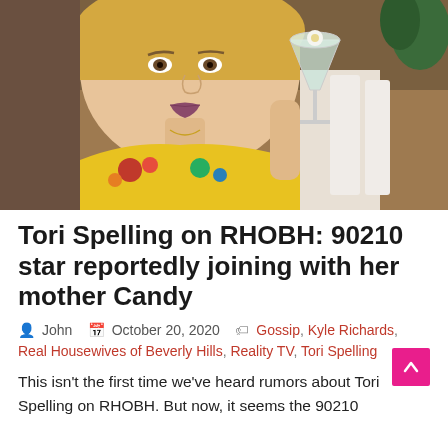[Figure (photo): Woman in floral yellow outfit holding a martini glass, smiling at the camera]
Tori Spelling on RHOBH: 90210 star reportedly joining with her mother Candy
John  October 20, 2020  Gossip, Kyle Richards, Real Housewives of Beverly Hills, Reality TV, Tori Spelling
This isn't the first time we've heard rumors about Tori Spelling on RHOBH. But now, it seems the 90210